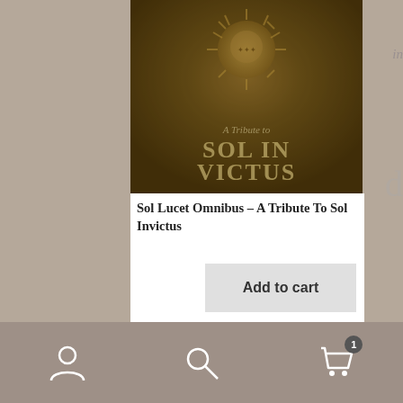[Figure (photo): Album cover art for 'A Tribute to Sol Invictus' — dark golden-brown textured background with a sun emblem at top and stylized text 'A Tribute to SOL INVICTUS' in metallic relief.]
Sol Lucet Omnibus – A Tribute To Sol Invictus
[Figure (screenshot): Add to cart button — light gray rectangular button with bold text 'Add to cart'.]
[Figure (photo): Partial view of a second product strip — dark navy/black background with multicolor stylized characters/letters and a gray price badge showing '€6.00'.]
User icon | Search icon | Cart icon (1 item)